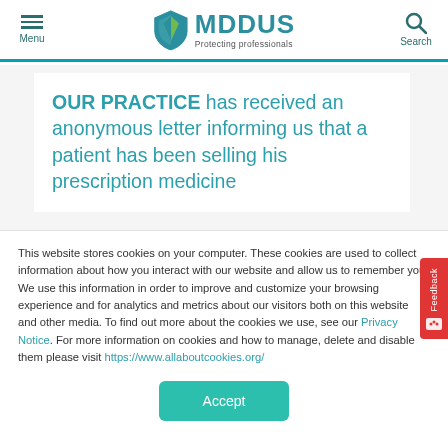Menu | MDDUS Protecting professionals | Search
OUR PRACTICE has received an anonymous letter informing us that a patient has been selling his prescription medicine
This website stores cookies on your computer. These cookies are used to collect information about how you interact with our website and allow us to remember you. We use this information in order to improve and customize your browsing experience and for analytics and metrics about our visitors both on this website and other media. To find out more about the cookies we use, see our Privacy Notice. For more information on cookies and how to manage, delete and disable them please visit https://www.allaboutcookies.org/